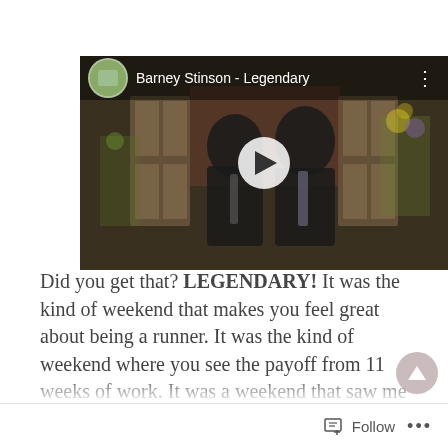[Figure (screenshot): Embedded YouTube-style video thumbnail showing two men in suits with text 'Barney Stinson - Legendary' and a play button overlay]
Did you get that? LEGENDARY! It was the kind of weekend that makes you feel great about being a runner. It was the kind of weekend where you see the payoff from 11 weeks of work. It was a weekend that saw me equal my 5K PR on Saturday and set a new 10K PR
Follow ...